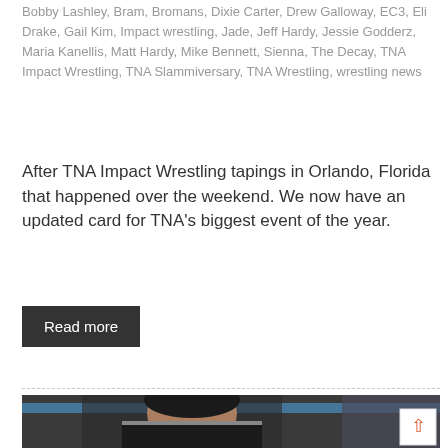Bobby Lashley, Bram, Bromans, Dixie Carter, Drew Galloway, EC3, Eli Drake, Gail Kim, Impact wrestling, Jade, Jeff Hardy, Jessie Godderz, Maria Kanellis, Matt Hardy, Mike Bennett, Sienna, The Decay, TNA Impact Wrestling, TNA Slammiversary, TNA Wrestling, wrestling news
After TNA Impact Wrestling tapings in Orlando, Florida that happened over the weekend. We now have an updated card for TNA's biggest event of the year.
Read more
[Figure (photo): A male wrestler with wet dark hair, wearing a torn black wrestling vest, holding his hand to his head, standing in front of a blue wrestling ring rope with crowd in background.]